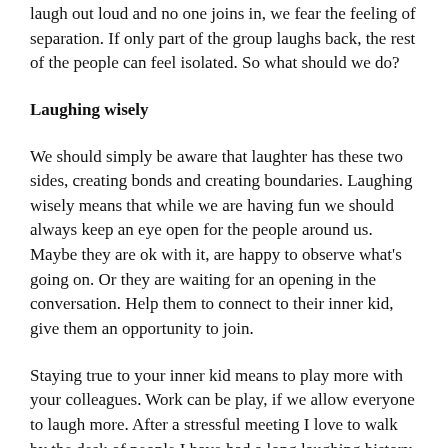laugh out loud and no one joins in, we fear the feeling of separation. If only part of the group laughs back, the rest of the people can feel isolated. So what should we do?
Laughing wisely
We should simply be aware that laughter has these two sides, creating bonds and creating boundaries. Laughing wisely means that while we are having fun we should always keep an eye open for the people around us. Maybe they are ok with it, are happy to observe what's going on. Or they are waiting for an opening in the conversation. Help them to connect to their inner kid, give them an opportunity to join.
Staying true to your inner kid means to play more with your colleagues. Work can be play, if we allow everyone to laugh more. After a stressful meeting I love to walk by the desk of people I have had a long laughing history with. A witty comment, a remark about an awkward situation and pretty soon we are all laughing.